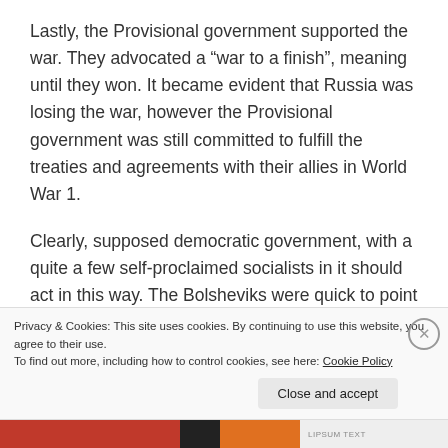Lastly, the Provisional government supported the war. They advocated a "war to a finish", meaning until they won. It became evident that Russia was losing the war, however the Provisional government was still committed to fulfill the treaties and agreements with their allies in World War 1.
Clearly, supposed democratic government, with a quite a few self-proclaimed socialists in it should act in this way. The Bolsheviks were quick to point out that the Provisional government acts exactly like the Tsarist government, which also sided with the landlords
Privacy & Cookies: This site uses cookies. By continuing to use this website, you agree to their use.
To find out more, including how to control cookies, see here: Cookie Policy